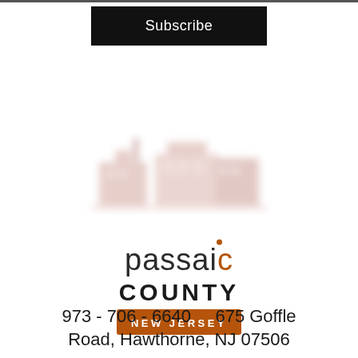[Figure (other): Black Subscribe button/banner at top center of page]
[Figure (logo): Blurred/faded reddish-pink logo image, appears to be a building or landmark silhouette, partially visible]
[Figure (logo): Passaic County New Jersey logo — 'passaic' in gray with orange dot over i, 'COUNTY' in bold dark letters, 'NEW JERSEY' in white text on orange banner]
973 - 706 - 6640     675 Goffle Road, Hawthorne, NJ 07506